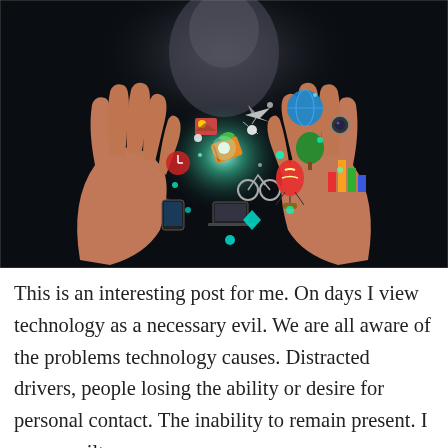[Figure (photo): Two open human hands facing upward against a dark background, with a glowing burst of digital and real-world objects (gadgets, globe, bicycle, hot air balloon, books, trees, bar chart, camera, etc.) floating and sparkling between them. A blurred human head is visible in the background above.]
This is an interesting post for me. On days I view technology as a necessary evil. We are all aware of the problems technology causes. Distracted drivers, people losing the ability or desire for personal contact. The inability to remain present. I am as guilty as anyone...